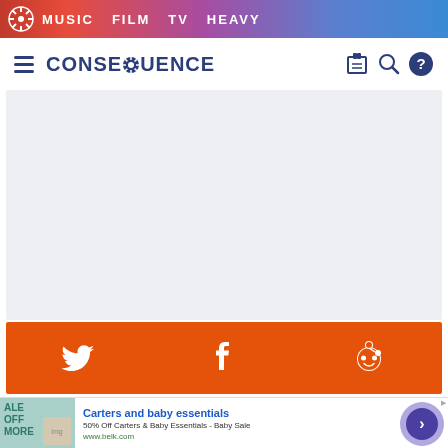MUSIC  FILM  TV  HEAVY
CONSEQUENCE
[Figure (screenshot): Light gray empty content/ad placeholder area]
[Figure (infographic): Orange social sharing bar with Twitter, Facebook, and Reddit icons]
[Figure (other): Advertisement: Carters and baby essentials - 50% Off Carters & Baby Essentials - Baby Sale - www.belk.com]